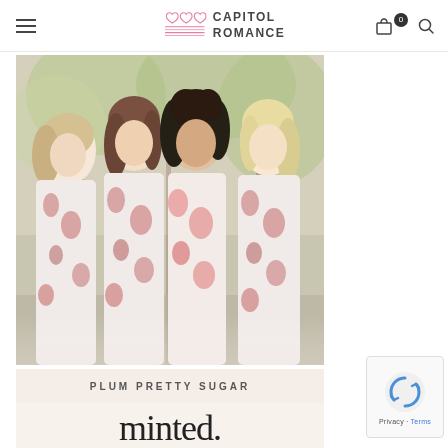Capitol Romance
[Figure (photo): Four women wearing floral robes/kimonos posing together outdoors with trees in background. Below the photo is text reading PLUM PRETTY SUGAR and minted.]